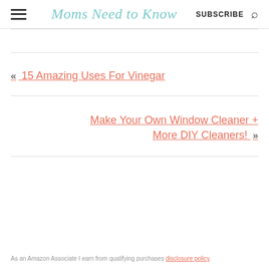Moms Need to Know | SUBSCRIBE
« 15 Amazing Uses For Vinegar
Make Your Own Window Cleaner + More DIY Cleaners! »
As an Amazon Associate I earn from qualifying purchases disclosure policy.